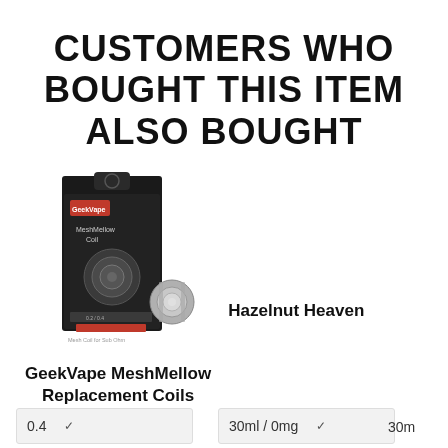CUSTOMERS WHO BOUGHT THIS ITEM ALSO BOUGHT
[Figure (photo): Product photo of GeekVape MeshMellow Replacement Coils — black retail box with a loose coil beside it]
GeekVape MeshMellow Replacement Coils
Hazelnut Heaven
0.4
30ml / 0mg
30m